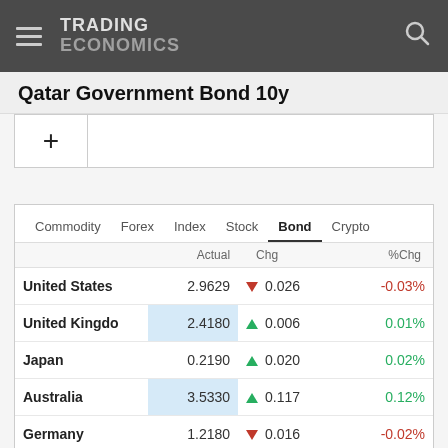TRADING ECONOMICS
Qatar Government Bond 10y
|  | Actual | Chg | %Chg |
| --- | --- | --- | --- |
| United States | 2.9629 | ▼ 0.026 | -0.03% |
| United Kingdom | 2.4180 | ▲ 0.006 | 0.01% |
| Japan | 0.2190 | ▲ 0.020 | 0.02% |
| Australia | 3.5330 | ▲ 0.117 | 0.12% |
| Germany | 1.2180 | ▼ 0.016 | -0.02% |
| Brazil | 13.0000 | ▲ 0.000 | 0.00% |